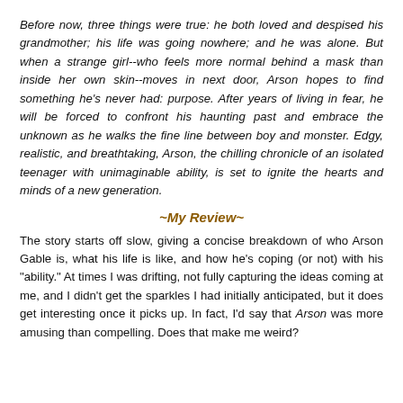Before now, three things were true: he both loved and despised his grandmother; his life was going nowhere; and he was alone. But when a strange girl--who feels more normal behind a mask than inside her own skin--moves in next door, Arson hopes to find something he's never had: purpose. After years of living in fear, he will be forced to confront his haunting past and embrace the unknown as he walks the fine line between boy and monster. Edgy, realistic, and breathtaking, Arson, the chilling chronicle of an isolated teenager with unimaginable ability, is set to ignite the hearts and minds of a new generation.
~My Review~
The story starts off slow, giving a concise breakdown of who Arson Gable is, what his life is like, and how he's coping (or not) with his "ability." At times I was drifting, not fully capturing the ideas coming at me, and I didn't get the sparkles I had initially anticipated, but it does get interesting once it picks up. In fact, I'd say that Arson was more amusing than compelling. Does that make me weird?